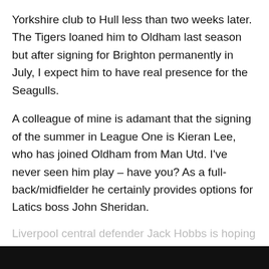Yorkshire club to Hull less than two weeks later. The Tigers loaned him to Oldham last season but after signing for Brighton permanently in July, I expect him to have real presence for the Seagulls.
A colleague of mine is adamant that the signing of the summer in League One is Kieran Lee, who has joined Oldham from Man Utd. I've never seen him play – have you? As a full-back/midfielder he certainly provides options for Latics boss John Sheridan.
Liverpool central defender Jack Hobbs is hoping to gain
Privacy & Cookies: This site uses cookies. By continuing to use this website, you agree to their use.
To find out more, including how to control cookies, see here: Cookie Policy
Close and accept